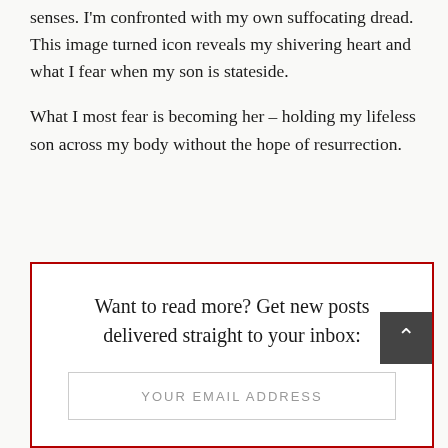senses. I'm confronted with my own suffocating dread. This image turned icon reveals my shivering heart and what I fear when my son is stateside.
What I most fear is becoming her – holding my lifeless son across my body without the hope of resurrection.
Want to read more? Get new posts delivered straight to your inbox:
YOUR EMAIL ADDRESS